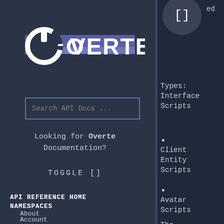[Figure (logo): Overte logo — circular power icon with 'OVERTE' text and purple/blue horizontal bar]
Search API Docs ...
Looking for Overte Documentation?
TOGGLE []
API REFERENCE HOME
NAMESPACES
About
Account
AccountServices
AddressManager
Types: Interface Scripts
Client Entity Scripts
Avatar Scripts
The HMD API provides access to the HMD